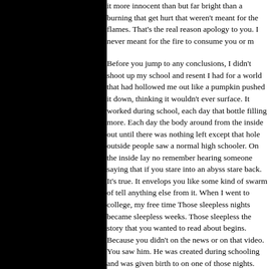it more innocent than but far bright than a burning that get hurt that weren't meant for the flames. That's the real reason apology to you. I never meant for the fire to consume you or m
Before you jump to any conclusions, I didn't shoot up my school and resent I had for a world that had hollowed me out like a pumpkin pushed it down, thinking it wouldn't ever surface. It worked during school, each day that bottle filling more. Each day the body around from the inside out until there was nothing left except that hole outside people saw a normal high schooler. On the inside lay no remember hearing someone saying that if you stare into an abyss stare back. It's true. It envelops you like some kind of swarm of tell anything else from it. When I went to college, my free time Those sleepless nights became sleepless weeks. Those sleepless the story that you wanted to read about begins. Because you didn't on the news or on that video. You saw him. He was created during schooling and was given birth to on one of those nights. Meet P
He looks just like me. Most people seem surprised at that fact. Jekel-esque figure, thin and gauntly with some form of horrid to see the hulking object that they envision Penumbra to be. Th true. We share a body. I do not drink a potion, nor put on a suit in a singular body. I am aware he is there, as is he with me. I fi